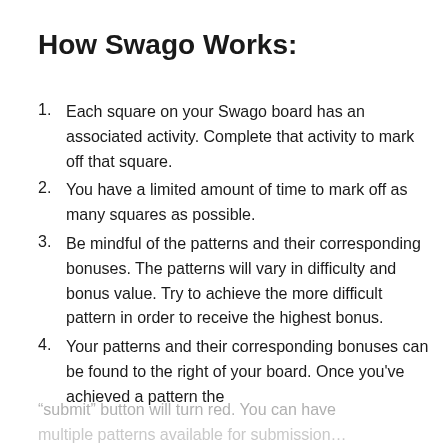How Swago Works:
Each square on your Swago board has an associated activity. Complete that activity to mark off that square.
You have a limited amount of time to mark off as many squares as possible.
Be mindful of the patterns and their corresponding bonuses. The patterns will vary in difficulty and bonus value. Try to achieve the more difficult pattern in order to receive the highest bonus.
Your patterns and their corresponding bonuses can be found to the right of your board. Once you've achieved a pattern the
“submit” button will turn red. You can have multiple patterns available for submission…